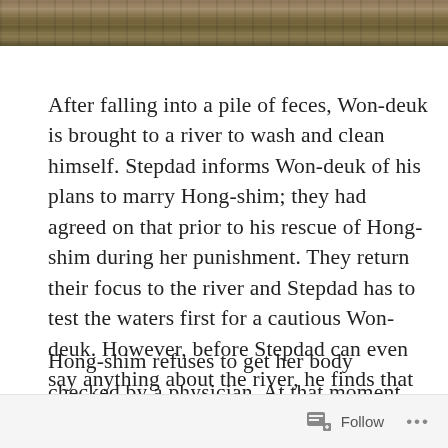[Figure (photo): A strip of a river scene showing water and rocks/earth, olive and brown tones, partially visible at top of page.]
After falling into a pile of feces, Won-deuk is brought to a river to wash and clean himself. Stepdad informs Won-deuk of his plans to marry Hong-shim; they had agreed on that prior to his rescue of Hong-shim during her punishment. They return their focus to the river and Stepdad has to test the waters first for a cautious Won-deuk. However, before Stepdad can even say anything about the river, he finds that Won-deuk has disappeared. Lol.
Hong-shim refuses to get her body checked by a physician. At that moment, Stepdad comes
Follow ...